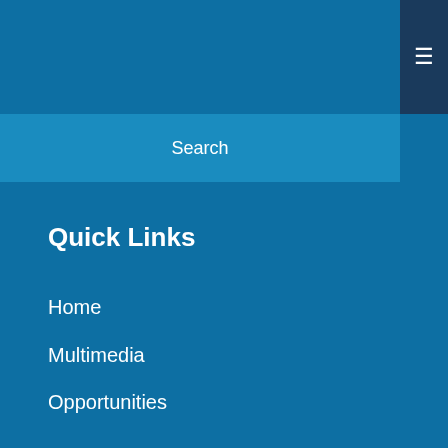Search
Quick Links
Home
Multimedia
Opportunities
Buy Our books
The Three Financial Styles of Very Successful Leaders